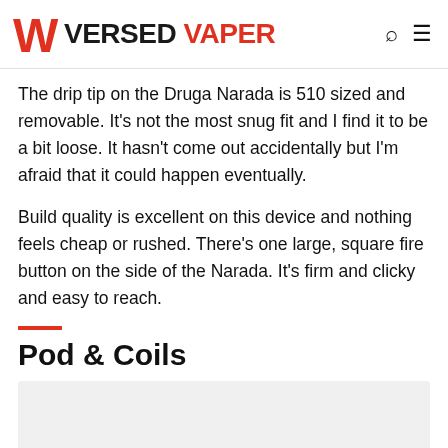Versed Vaper
The drip tip on the Druga Narada is 510 sized and removable. It’s not the most snug fit and I find it to be a bit loose. It hasn’t come out accidentally but I’m afraid that it could happen eventually.
Build quality is excellent on this device and nothing feels cheap or rushed. There’s one large, square fire button on the side of the Narada. It’s firm and clicky and easy to reach.
Pod & Coils
[Figure (photo): Photo placeholder area for Pod & Coils section, light gray rectangle]